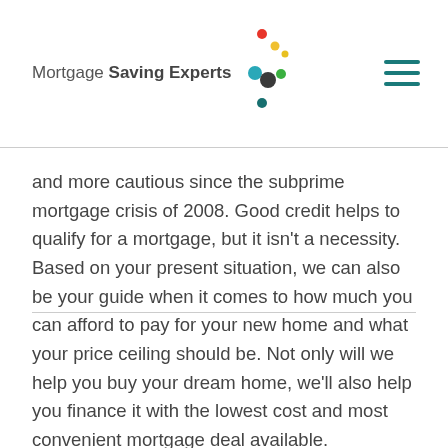Mortgage Saving Experts
[Figure (logo): Mortgage Saving Experts logo with colorful dots (red, yellow, green, teal, dark teal) arranged in a curved pattern]
and more cautious since the subprime mortgage crisis of 2008. Good credit helps to qualify for a mortgage, but it isn't a necessity. Based on your present situation, we can also be your guide when it comes to how much you can afford to pay for your new home and what your price ceiling should be. Not only will we help you buy your dream home, we'll also help you finance it with the lowest cost and most convenient mortgage deal available.